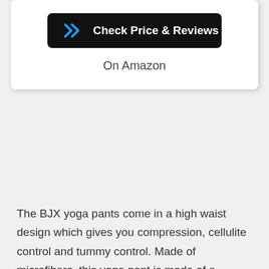[Figure (other): Black rounded button with blue double-chevron icon and white text 'Check Price & Reviews']
On Amazon
The BJX yoga pants come in a high waist design which gives you compression, cellulite control and tummy control. Made of microfibers, this yoga pant is made of a material called Supplex.
This material specifically provides support, compression and comfort by holding and retaining their shape for a longer period of